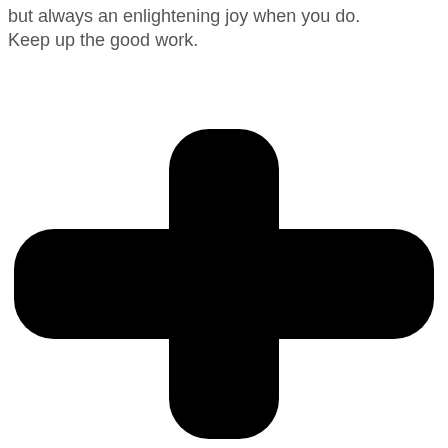but always an enlightening joy when you do. Keep up the good work.
[Figure (illustration): A large black plus sign (+) with rounded ends, centered in the lower portion of the page.]